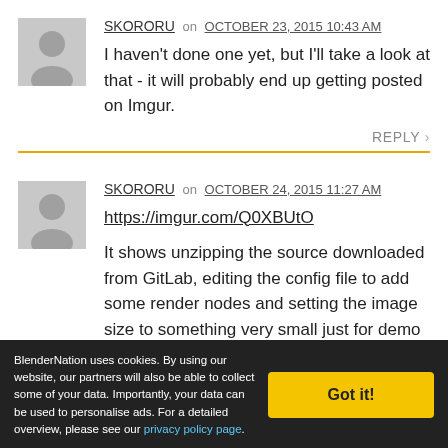SKORORU on OCTOBER 23, 2015 10:43 AM
I haven't done one yet, but I'll take a look at that - it will probably end up getting posted on Imgur.
REPLY ›
SKORORU on OCTOBER 24, 2015 11:27 AM
https://imgur.com/Q0XBUtO
It shows unzipping the source downloaded from GitLab, editing the config file to add some render nodes and setting the image size to something very small just for demo
BlenderNation uses cookies. By using our website, our partners will also be able to collect some of your data. Importantly, your data can be used to personalise ads. For a detailed overview, please see our privacy policy page.